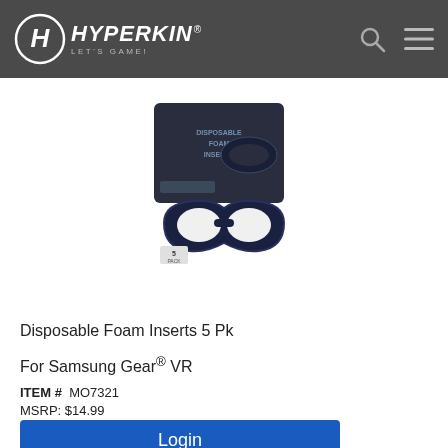HYPERKIN® LET'S GAME!
[Figure (photo): Product photo showing Disposable Foam Inserts 5 Pack for Samsung Gear VR — a dark box with product branding and a dark navy foam facial interface/mask insert displayed in front]
Disposable Foam Inserts 5 Pk
For Samsung Gear® VR
ITEM #  MO7321
MSRP: $14.99
Login